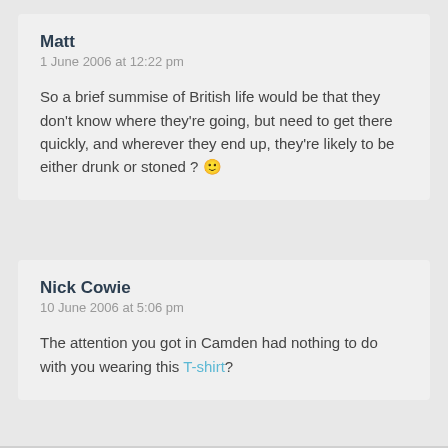Matt
1 June 2006 at 12:22 pm
So a brief summise of British life would be that they don't know where they're going, but need to get there quickly, and wherever they end up, they're likely to be either drunk or stoned ? 🙂
Nick Cowie
10 June 2006 at 5:06 pm
The attention you got in Camden had nothing to do with you wearing this T-shirt?